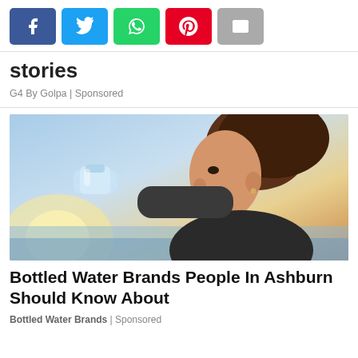[Figure (other): Row of five social media share buttons: Facebook (blue), Twitter (light blue), WhatsApp (green), Pinterest (red), Email (gray)]
stories
G4 By Golpa | Sponsored
[Figure (photo): A young woman drinking from a plastic water bottle with a bright sunny sky and water in the background]
Bottled Water Brands People In Ashburn Should Know About
Bottled Water Brands | Sponsored